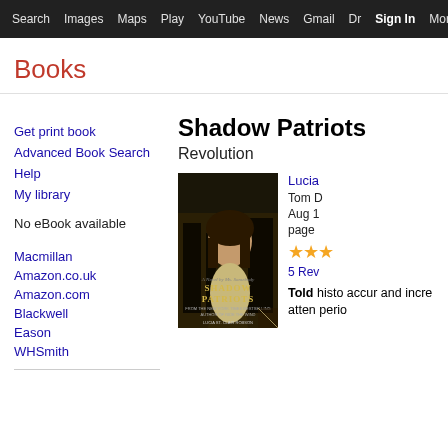Search  Images  Maps  Play  YouTube  News  Gmail  Dr  Sign In  More  ⚙
Books
Get print book
Advanced Book Search
Help
My library
No eBook available
Macmillan
Amazon.co.uk
Amazon.com
Blackwell
Eason
WHSmith
Shadow Patriots Revolution
[Figure (photo): Book cover of Shadow Patriots by Lucia St. Clair Robson, showing a woman in period dress on a dark street]
Lucia
Tom D
Aug 1
pages
★★★
5 Reviews
Told historically accurate and incredibly attentive to period...